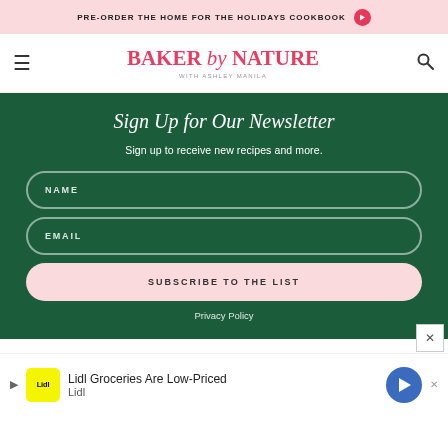PRE-ORDER THE HOME FOR THE HOLIDAYS COOKBOOK →
BAKER by NATURE WITH ASHLEY MANILA
Sign Up for Our Newsletter
Sign up to receive new recipes and more.
NAME
EMAIL
SUBSCRIBE TO THE LIST
Privacy Policy
Lidl Groceries Are Low-Priced Lidl